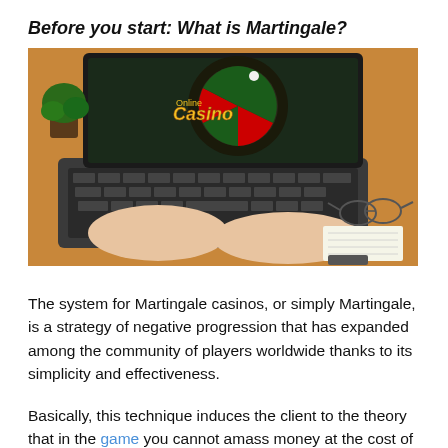Before you start: What is Martingale?
[Figure (photo): Person typing on a laptop showing an online casino roulette game screen, with glasses and a notebook in the background on a wooden desk]
The system for Martingale casinos, or simply Martingale, is a strategy of negative progression that has expanded among the community of players worldwide thanks to its simplicity and effectiveness.
Basically, this technique induces the client to the theory that in the game you cannot amass money at the cost of consecutive losses. For optimists, it